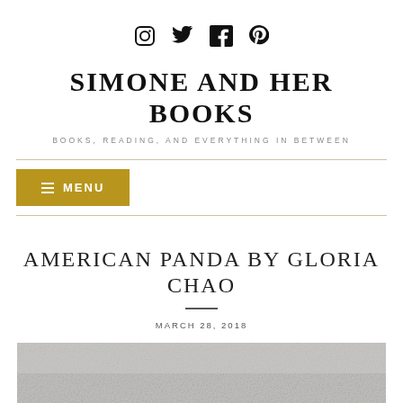[Figure (other): Social media icons: Instagram, Twitter, Facebook, Goodreads]
SIMONE AND HER BOOKS
BOOKS, READING, AND EVERYTHING IN BETWEEN
[Figure (other): Navigation menu button with hamburger icon, labeled MENU, gold/olive background]
AMERICAN PANDA BY GLORIA CHAO
MARCH 28, 2018
[Figure (photo): Partial photo at bottom of page, appears to be a textured grey/white surface (possibly a book cover or fabric)]